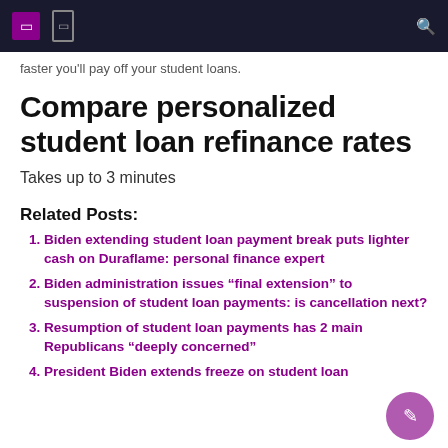Navigation bar with menu icon, bookmark icon, and search icon
faster you'll pay off your student loans.
Compare personalized student loan refinance rates
Takes up to 3 minutes
Related Posts:
Biden extending student loan payment break puts lighter cash on Duraflame: personal finance expert
Biden administration issues “final extension” to suspension of student loan payments: is cancellation next?
Resumption of student loan payments has 2 main Republicans “deeply concerned”
President Biden extends freeze on student loan